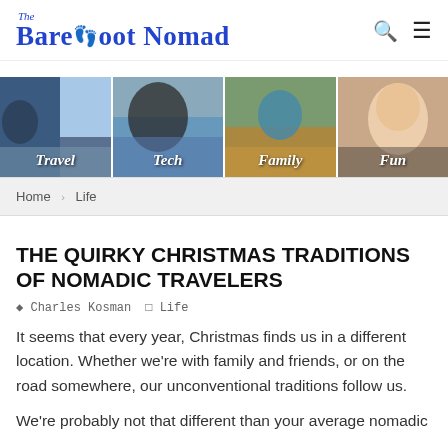The Barefoot Nomad
[Figure (photo): Navigation image strip with four category images labeled Travel, Tech, Family, Fun]
Home > Life
THE QUIRKY CHRISTMAS TRADITIONS OF NOMADIC TRAVELERS
Charles Kosman   Life
It seems that every year, Christmas finds us in a different location. Whether we're with family and friends, or on the road somewhere, our unconventional traditions follow us.
We're probably not that different than your average nomadic